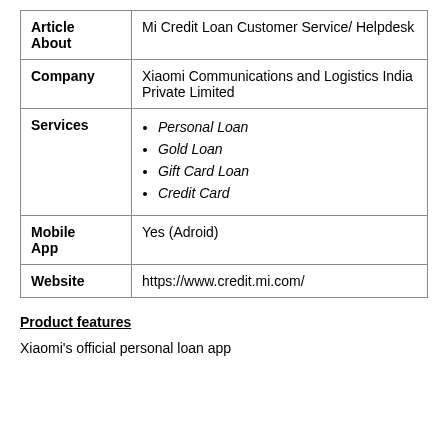|  |  |
| --- | --- |
| Article About | Mi Credit Loan Customer Service/ Helpdesk |
| Company | Xiaomi Communications and Logistics India Private Limited |
| Services | Personal Loan, Gold Loan, Gift Card Loan, Credit Card |
| Mobile App | Yes (Adroid) |
| Website | https://www.credit.mi.com/ |
Product features
Xiaomi's official personal loan app